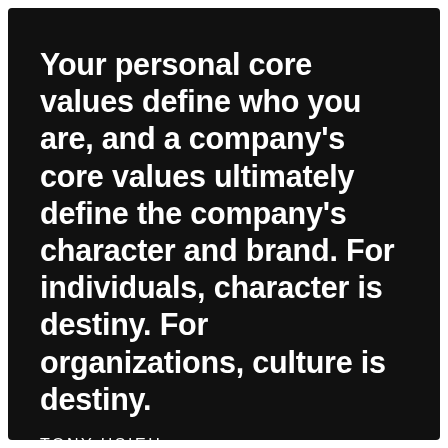Your personal core values define who you are, and a company’s core values ultimately define the company’s character and brand. For individuals, character is destiny. For organizations, culture is destiny.
TONY HSIEH